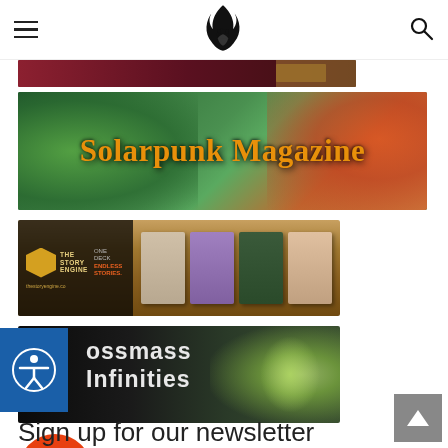Navigation header with hamburger menu, flame logo, and search icon
[Figure (illustration): Partial dark maroon/dark image banner at top of content area]
[Figure (illustration): Solarpunk Magazine banner with green jungle/fantasy background and orange stylized text reading 'Solarpunk Magazine']
[Figure (illustration): The Story Engine banner - ONE DECK ENDLESS STORIES - showing card deck products on wooden table background]
[Figure (illustration): Mossmass Infinities banner with dark forest/creature background showing 'ossmass Infinities' text in white bold font]
[Figure (logo): Workshop Orange logo - orange circle with W symbol and 'workshop orange' text in orange]
Sign up for our newsletter